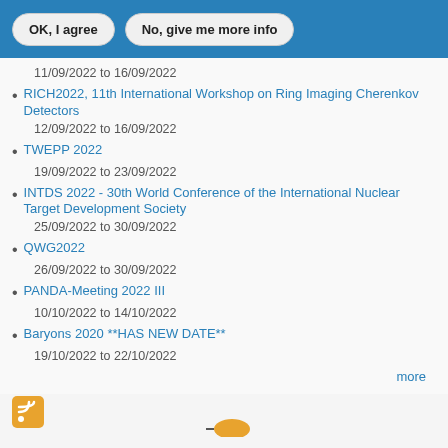OK, I agree | No, give me more info
11/09/2022 to 16/09/2022
RICH2022, 11th International Workshop on Ring Imaging Cherenkov Detectors
12/09/2022 to 16/09/2022
TWEPP 2022
19/09/2022 to 23/09/2022
INTDS 2022 - 30th World Conference of the International Nuclear Target Development Society
25/09/2022 to 30/09/2022
QWG2022
26/09/2022 to 30/09/2022
PANDA-Meeting 2022 III
10/10/2022 to 14/10/2022
Baryons 2020 **HAS NEW DATE**
19/10/2022 to 22/10/2022
more
[Figure (logo): RSS feed orange icon]
[Figure (logo): Partial logo at bottom center]